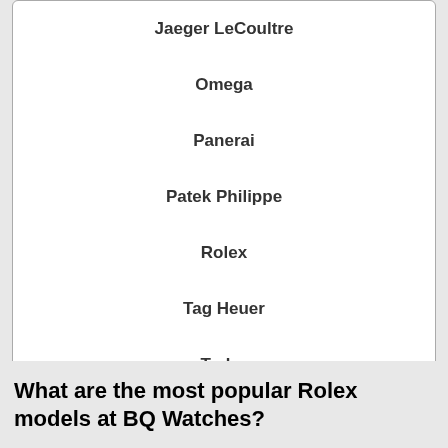Jaeger LeCoultre
Omega
Panerai
Patek Philippe
Rolex
Tag Heuer
Tudor
What are the most popular Rolex models at BQ Watches?